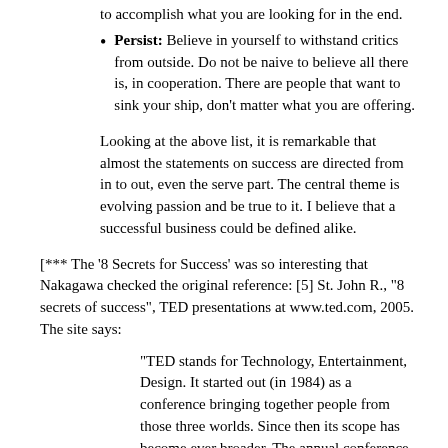to accomplish what you are looking for in the end.
Persist: Believe in yourself to withstand critics from outside. Do not be naive to believe all there is, in cooperation. There are people that want to sink your ship, don't matter what you are offering.
Looking at the above list, it is remarkable that almost the statements on success are directed from in to out, even the serve part. The central theme is evolving passion and be true to it. I believe that a successful business could be defined alike.
[*** The '8 Secrets for Success' was so interesting that Nakagawa checked the original reference: [5] St. John R., "8 secrets of success", TED presentations at www.ted.com, 2005.  The site says:
"TED stands for Technology, Entertainment, Design. It started out (in 1984) as a conference bringing together people from those three worlds. Since then its scope has become ever broader. The annual conference now brings together the world's